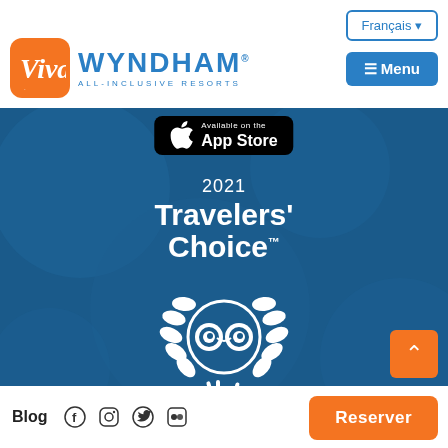[Figure (logo): Viva Wyndham All-Inclusive Resorts logo with orange square Viva logo and blue Wyndham text]
Français ▾
≡ Menu
[Figure (logo): App Store badge: Available on the App Store]
[Figure (logo): 2021 Travelers' Choice Tripadvisor award logo with owl emblem and laurel wreath]
Blog
Reserver